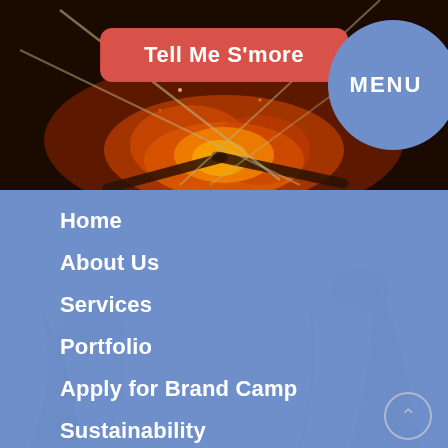[Figure (photo): Campfire with glowing embers and dark background, serving as hero image]
Tell Me S'more
MENU
Home
About Us
Services
Portfolio
Apply for Brand Camp
Sustainability
Blog
Contact Us
Careers